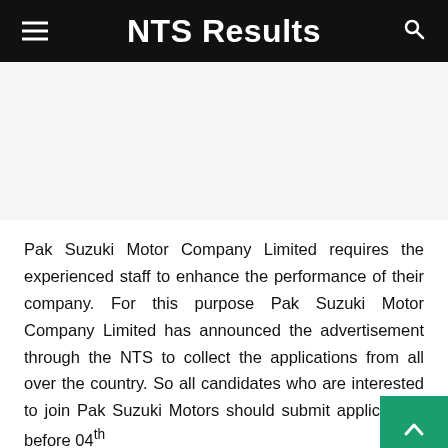NTS Results
[Figure (other): Advertisement/banner placeholder area (white/light gray blank space)]
Pak Suzuki Motor Company Limited requires the experienced staff to enhance the performance of their company. For this purpose Pak Suzuki Motor Company Limited has announced the advertisement through the NTS to collect the applications from all over the country. So all candidates who are interested to join Pak Suzuki Motors should submit applications before 04th